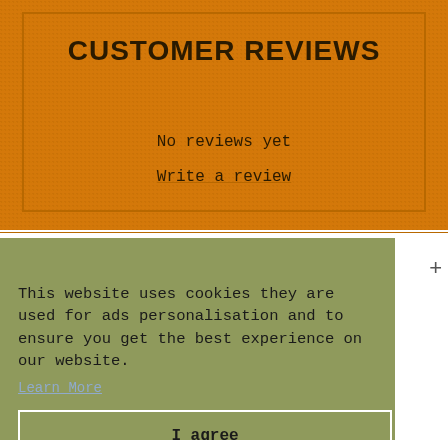CUSTOMER REVIEWS
No reviews yet
Write a review
This website uses cookies they are used for ads personalisation and to ensure you get the best experience on our website.
Learn More
I agree